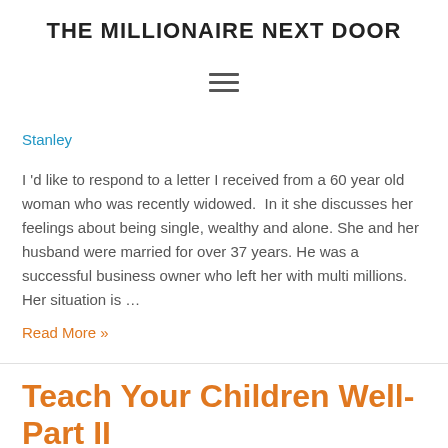THE MILLIONAIRE NEXT DOOR
[Figure (other): Hamburger menu icon (three horizontal lines)]
Stanley
I 'd like to respond to a letter I received from a 60 year old woman who was recently widowed.  In it she discusses her feelings about being single, wealthy and alone. She and her husband were married for over 37 years. He was a successful business owner who left her with multi millions. Her situation is …
Read More »
Teach Your Children Well- Part II
6 Comments / Millionaire Next Door Stories / By Thomas J.